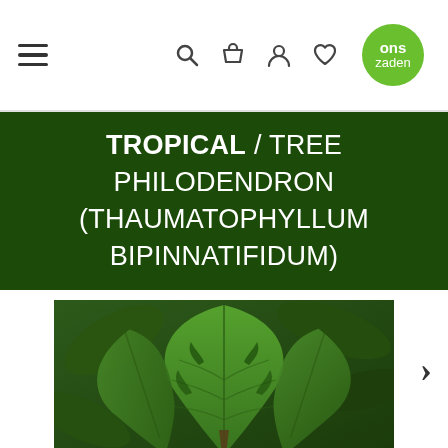Navigation bar with hamburger menu, search, basket, account, wishlist icons, and ons zaden logo
TROPICAL / TREE PHILODENDRON (THAUMATOPHYLLUM BIPINNATIFIDUM)
[Figure (photo): Close-up photo of large tropical Thaumatophyllum bipinnatifidum (Tree Philodendron) leaves with deeply lobed green foliage against a dark green leafy background]